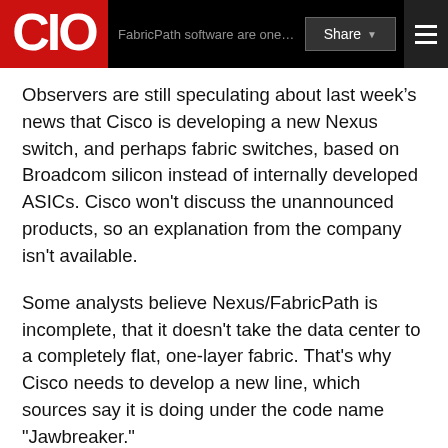CIO | Share
Observers are still speculating about last week’s news that Cisco is developing a new Nexus switch, and perhaps fabric switches, based on Broadcom silicon instead of internally developed ASICs. Cisco won't discuss the unannounced products, so an explanation from the company isn't available.
Some analysts believe Nexus/FabricPath is incomplete, that it doesn't take the data center to a completely flat, one-layer fabric. That's why Cisco needs to develop a new line, which sources say it is doing under the code name "Jawbreaker."
And doing so with merchant silicon reduces the time and cost of developing custom ASICs, and speeds time-to-market - something of vital importance now that Juniper has rolled out its QFabric line from its Stratus fabric project.